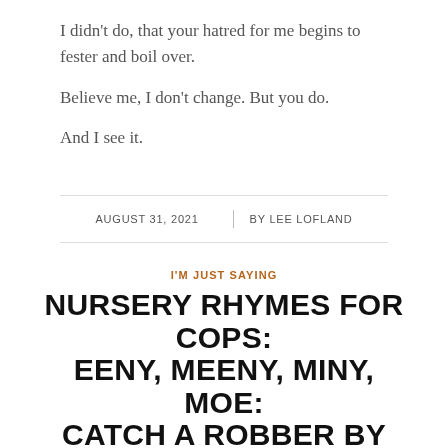I didn't do, that your hatred for me begins to fester and boil over.
Believe me, I don't change. But you do.
And I see it.
AUGUST 31, 2021 | BY LEE LOFLAND
I'M JUST SAYING
NURSERY RHYMES FOR COPS: EENY, MEENY, MINY, MOE: CATCH A ROBBER BY THE